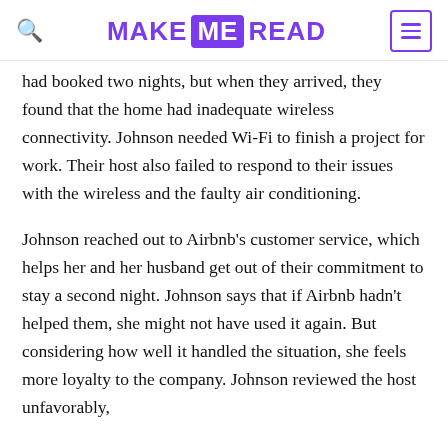MAKE ME READ
had booked two nights, but when they arrived, they found that the home had inadequate wireless connectivity. Johnson needed Wi-Fi to finish a project for work. Their host also failed to respond to their issues with the wireless and the faulty air conditioning.
Johnson reached out to Airbnb's customer service, which helps her and her husband get out of their commitment to stay a second night. Johnson says that if Airbnb hadn't helped them, she might not have used it again. But considering how well it handled the situation, she feels more loyalty to the company. Johnson reviewed the host unfavorably,